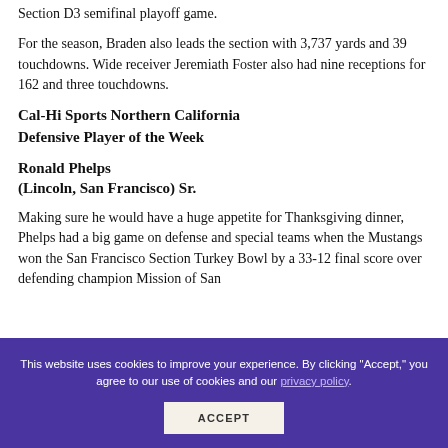Section D3 semifinal playoff game.
For the season, Braden also leads the section with 3,737 yards and 39 touchdowns. Wide receiver Jeremiath Foster also had nine receptions for 162 and three touchdowns.
Cal-Hi Sports Northern California Defensive Player of the Week
Ronald Phelps
(Lincoln, San Francisco) Sr.
Making sure he would have a huge appetite for Thanksgiving dinner, Phelps had a big game on defense and special teams when the Mustangs won the San Francisco Section Turkey Bowl by a 33-12 final score over defending champion Mission of San
This website uses cookies to improve your experience. By clicking "Accept," you agree to our use of cookies and our privacy policy.
ACCEPT